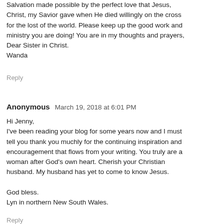Salvation made possible by the perfect love that Jesus, Christ, my Savior gave when He died willingly on the cross for the lost of the world. Please keep up the good work and ministry you are doing! You are in my thoughts and prayers, Dear Sister in Christ.
Wanda
Reply
Anonymous  March 19, 2018 at 6:01 PM
Hi Jenny,
I've been reading your blog for some years now and I must tell you thank you muchly for the continuing inspiration and encouragement that flows from your writing. You truly are a woman after God's own heart. Cherish your Christian husband. My husband has yet to come to know Jesus.

God bless.
Lyn in northern New South Wales.
Reply